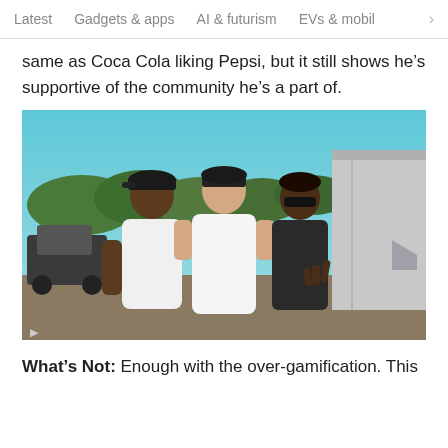Latest   Gadgets & apps   AI & futurism   EVs & mobil >
same as Coca Cola liking Pepsi, but it still shows he's supportive of the community he's a part of.
[Figure (photo): Three men posing together outdoors. The man on the left wears a white t-shirt and a dark baseball cap, the man in the middle wears a white t-shirt and dark cap, and the man on the right wears a dark jacket and sunglasses. They are standing near a trailer in an outdoor setting.]
What's Not: Enough with the over-gamification. This